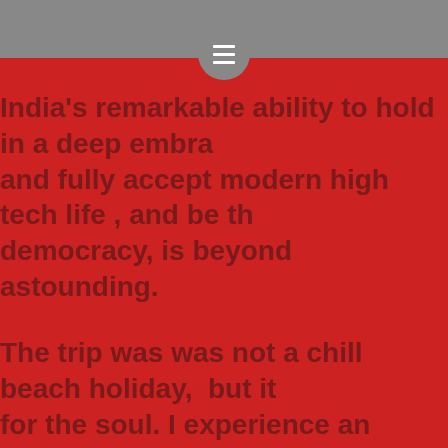[Figure (other): Grey top navigation bar with hamburger menu icon in a circular button]
India's remarkable ability to hold in a deep embrace and fully accept modern high tech life , and be the democracy, is beyond astounding.
The trip was was not a chill beach holiday, but it for the soul. I experience an ancient civilisation that inspiring structures that leave you breathless. People exceptionally engaging, with a wonderful sense of
My only comment is if you need something creative artists soul to inspire generations, call an Indian.